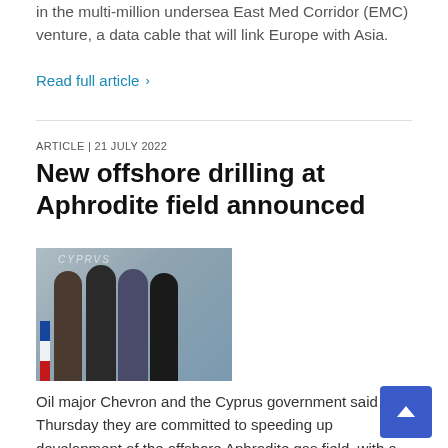in the multi-million undersea East Med Corridor (EMC) venture, a data cable that will link Europe with Asia.
Read full article ›
ARTICLE | 21 JULY 2022
New offshore drilling at Aphrodite field announced
[Figure (photo): Group photo of four people wearing face masks standing in front of a decorative CYPRUS backdrop with the EU flag visible.]
Oil major Chevron and the Cyprus government said on Thursday they are committed to speeding up development of the offshore Aphrodite gas field, with a new well will to be drilled in the first quarter of 2023.